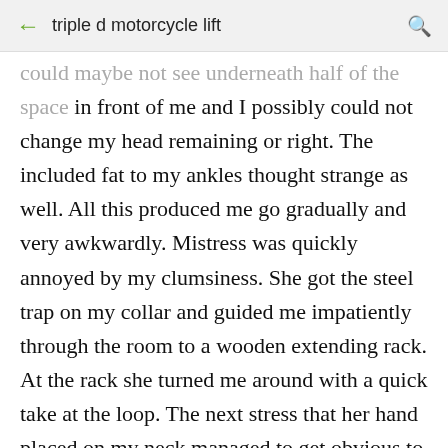triple d motorcycle lift
could maybe not see underneath half of the space in front of me and I possibly could not change my head remaining or right. The included fat to my ankles thought strange as well. All this produced me go gradually and very awkwardly. Mistress was quickly annoyed by my clumsiness. She got the steel trap on my collar and guided me impatiently through the room to a wooden extending rack. At the rack she turned me around with a quick take at the loop. The next stress that her hand placed on my neck managed to get obvious to me that she wanted me to lay down backwards.